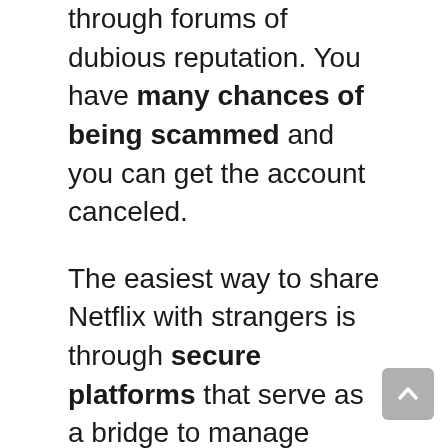through forums of dubious reputation. You have many chances of being scammed and you can get the account canceled.
The easiest way to share Netflix with strangers is through secure platforms that serve as a bridge to manage payments. The options we offer in this article (TogetherPrice and Spliiiit) are some of the best you can find today, and to date they have not given any problems.
In case of sharing with friends and acquaintances, it is much simpler. The payment is made to a single account, that of